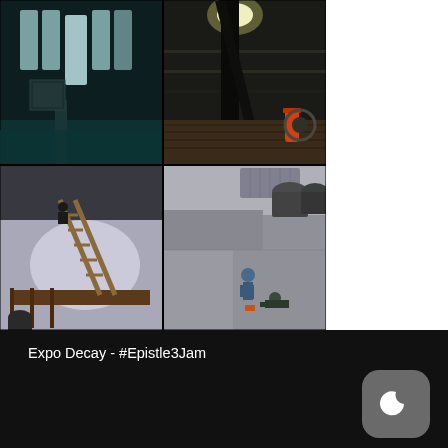[Figure (screenshot): Grid of four video game screenshots from Half-Life 2 style game. Top-left: teal/blue lit industrial hallway with tall white-lit windows. Top-right: dark warehouse/garage scene with industrial equipment and orange canister. Bottom-left: snowy exterior with diagonal wooden ladder in spotlight. Bottom-right: overhead isometric view of two characters on grey concrete floor with industrial background.]
Expo Decay - #Epistle3Jam